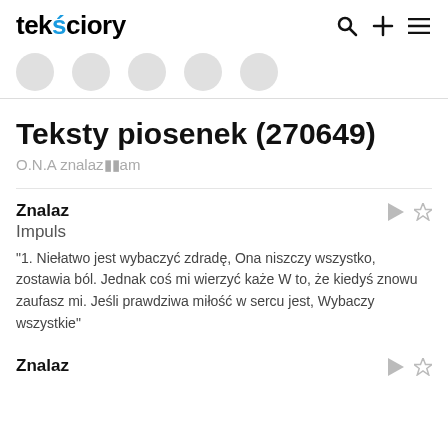teksciory
Teksty piosenek (270649)
O.N.A znalaz■■am
Znalaz
Impuls
"1. Niełatwo jest wybaczyć zdradę, Ona niszczy wszystko, zostawia ból. Jednak coś mi wierzyć każe W to, że kiedyś znowu zaufasz mi. Jeśli prawdziwa miłość w sercu jest, Wybaczy wszystkie"
Znalaz